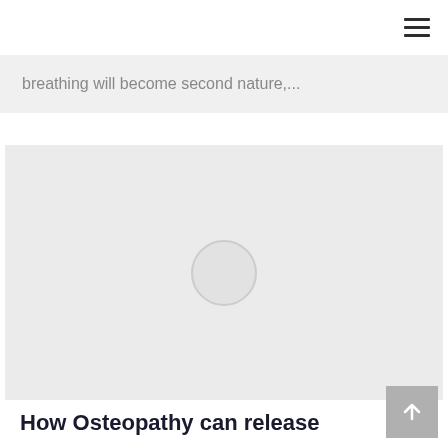breathing will become second nature,...
[Figure (photo): Large image placeholder with a light gray background and a circular loading/placeholder indicator in the center]
How Osteopathy can release